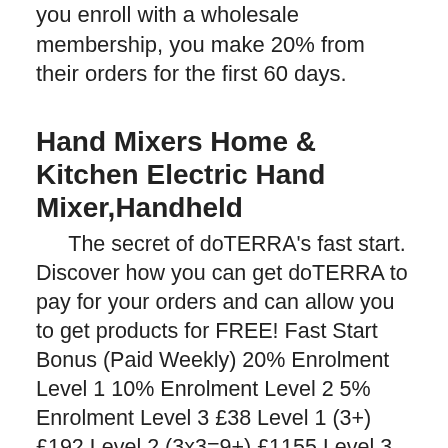you enroll with a wholesale membership, you make 20% from their orders for the first 60 days.
Hand Mixers Home & Kitchen Electric Hand Mixer,Handheld
The secret of doTERRA's fast start. Discover how you can get doTERRA to pay for your orders and can allow you to get products for FREE! Fast Start Bonus (Paid Weekly) 20% Enrolment Level 1 10% Enrolment Level 2 5% Enrolment Level 3 £38 Level 1 (3+) £192 Level 2 (3x3=9+) £1155 Level 3 (9x3=27+) YOU Fast start is paid out for the first 60 days that your down line is enrolled with doTERRA. It is paid out from the point value (PV) of purchased products. FAQ: When Is doTERRA Fast Start Paid? doTERRA Fast start checks are paid weekly!